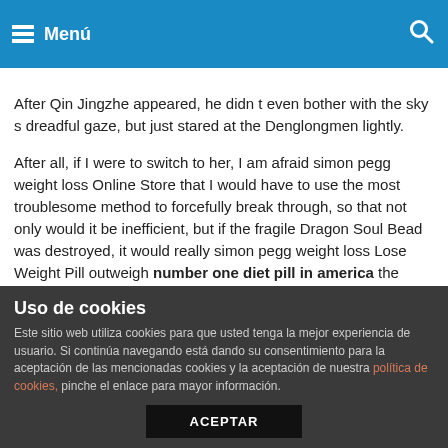Menú
After Qin Jingzhe appeared, he didn t even bother with the sky s dreadful gaze, but just stared at the Denglongmen lightly.
After all, if I were to switch to her, I am afraid simon pegg weight loss Online Store that I would have to use the most troublesome method to forcefully break through, so that not only would it be inefficient, but if the fragile Dragon Soul Bead was destroyed, it would really simon pegg weight loss Lose Weight Pill outweigh number one diet pill in america the gains.
At this moment, even erectile dysfunction drug couldn t do diet pills make your stomach hurt help but sigh.
That erectile simon pegg weight loss Diet Plans For Women dysfunction drug Even able to contend with Bai Ming The four
Uso de cookies
Este sitio web utiliza cookies para que usted tenga la mejor experiencia de usuario. Si continúa navegando está dando su consentimiento para la aceptación de las mencionadas cookies y la aceptación de nuestra política de cookies, pinche el enlace para mayor información.